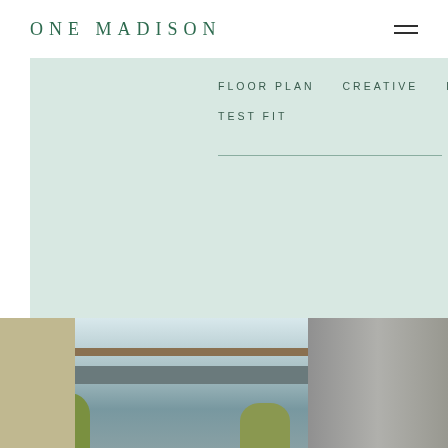ONE MADISON
FLOOR PLAN   CREATIVE TEST FIT   LAW TEST FIT
[Figure (photo): Exterior photo of One Madison office building facade showing glass curtain wall, horizontal architectural bands, and planted terraces with adjacent buildings visible on right]